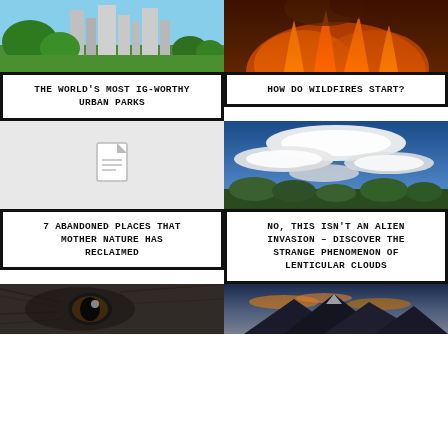[Figure (photo): City skyline with green trees and park in foreground]
THE WORLD'S MOST IG-WORTHY URBAN PARKS
[Figure (photo): Wildfire with flames and dark smoke]
HOW DO WILDFIRES START?
[Figure (photo): Light gray placeholder with document icon]
7 ABANDONED PLACES THAT MOTHER NATURE HAS RECLAIMED
[Figure (photo): Dramatic lenticular clouds over mountains with blue sky]
NO, THIS ISN'T AN ALIEN INVASION – DISCOVER THE STRANGE PHENOMENON OF LENTICULAR CLOUDS
[Figure (photo): Close up of animal eye, dark fur]
[Figure (photo): Mountain landscape at dusk with clouds]